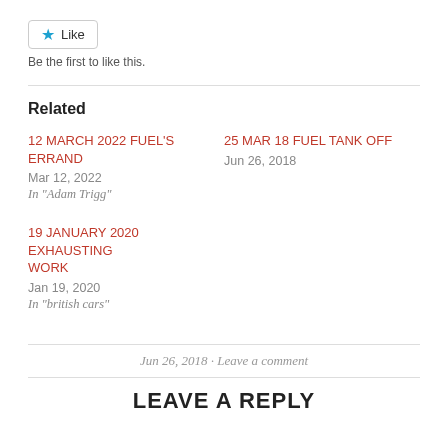[Figure (other): Like button with blue star icon]
Be the first to like this.
Related
12 MARCH 2022 FUEL'S ERRAND
Mar 12, 2022
In "Adam Trigg"
25 MAR 18 FUEL TANK OFF
Jun 26, 2018
19 JANUARY 2020 EXHAUSTING WORK
Jan 19, 2020
In "british cars"
Jun 26, 2018 · Leave a comment
LEAVE A REPLY